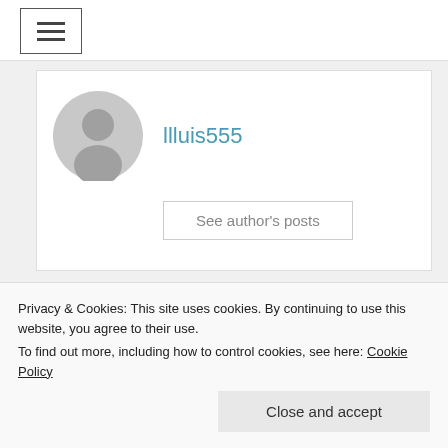[Figure (screenshot): Hamburger menu button (three horizontal lines) inside a bordered box in the top navigation bar]
llluis555
See author's posts
← Why the new Ford Fiesta WRC 2018 have
Privacy & Cookies: This site uses cookies. By continuing to use this website, you agree to their use.
To find out more, including how to control cookies, see here: Cookie Policy
Close and accept